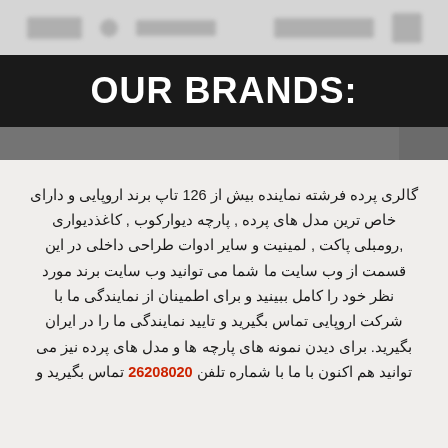OUR BRANDS:
گالری پرده فرشته نماینده بیش از 126 تاپ برند اروپایی و دارای خاص ترین مدل های پرده , پارچه دیوارکوب , کاغذدیواری ,رومبلی پاکت , لمینیت و سایر ادوات طراحی داخلی در این قسمت از وب سایت ما شما می توانید وب سایت برند مورد نظر خود را کامل ببینید و برای اطمینان از نمایندگی ما با شرکت اروپایی تماس بگیرید و تایید نمایندگی ما را در ایران بگیرید. برای دیدن نمونه های پارچه ها و مدل های پرده نیز می توانید هم اکنون با ما با شماره تلفن 26208020 تماس بگیرید و